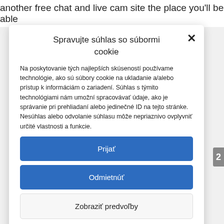another free chat and live cam site the place you'll be able
Spravujte súhlas so súbormi cookie
Na poskytovanie tých najlepších skúseností používame technológie, ako sú súbory cookie na ukladanie a/alebo prístup k informáciám o zariadení. Súhlas s týmito technológiami nám umožní spracovávať údaje, ako je správanie pri prehliadaní alebo jedinečné ID na tejto stránke. Nesúhlas alebo odvolanie súhlasu môže nepriaznivo ovplyvniť určité vlastnosti a funkcie.
Prijať
Odmietnúť
Zobraziť predvoľby
Zásady používania súborov cookie